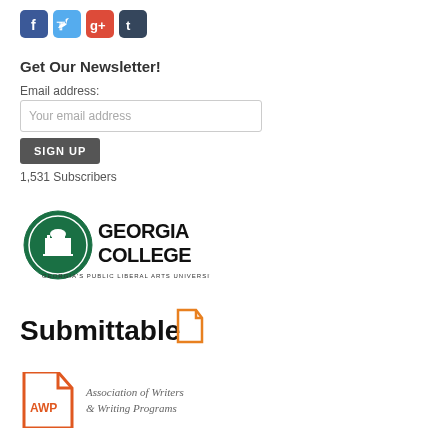[Figure (logo): Social media icons: Facebook (blue), Twitter (light blue), Google+ (red), Tumblr (dark blue)]
Get Our Newsletter!
Email address:
Your email address
SIGN UP
1,531 Subscribers
[Figure (logo): Georgia College logo - green circular seal with building, text 'GEORGIA COLLEGE' and 'GEORGIA'S PUBLIC LIBERAL ARTS UNIVERSITY']
[Figure (logo): Submittable logo - black text 'Submittable' with orange document icon]
[Figure (logo): AWP logo - orange document icon with 'AWP' text, and 'Association of Writers & Writing Programs' text in italic serif]